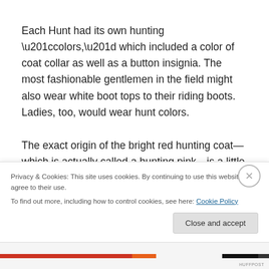Each Hunt had its own hunting “colors,” which included a color of coat collar as well as a button insignia. The most fashionable gentlemen in the field might also wear white boot tops to their riding boots. Ladies, too, would wear hunt colors.
The exact origin of the bright red hunting coat—which is actually called a hunting pink—is a little vague, but one theory holds that it was army officers hunting in their
Privacy & Cookies: This site uses cookies. By continuing to use this website, you agree to their use.
To find out more, including how to control cookies, see here: Cookie Policy